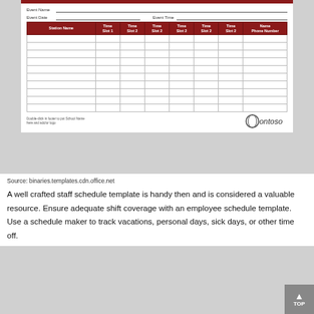| Station Name | Time Slot 1 | Time Slot 2 | Time Slot 2 | Time Slot 2 | Time Slot 2 | Name Phone Number |
| --- | --- | --- | --- | --- | --- | --- |
|  |  |  |  |  |  |  |
|  |  |  |  |  |  |  |
|  |  |  |  |  |  |  |
|  |  |  |  |  |  |  |
|  |  |  |  |  |  |  |
|  |  |  |  |  |  |  |
|  |  |  |  |  |  |  |
|  |  |  |  |  |  |  |
|  |  |  |  |  |  |  |
|  |  |  |  |  |  |  |
Double-click in footer to put School Name here and add/or logo
Source: binaries.templates.cdn.office.net
A well crafted staff schedule template is handy then and is considered a valuable resource. Ensure adequate shift coverage with an employee schedule template. Use a schedule maker to track vacations, personal days, sick days, or other time off.